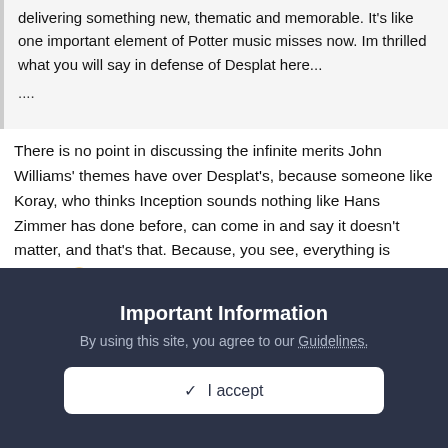delivering something new, thematic and memorable. It's like one important element of Potter music misses now. Im thrilled what you will say in defense of Desplat here...
....
There is no point in discussing the infinite merits John Williams' themes have over Desplat's, because someone like Koray, who thinks Inception sounds nothing like Hans Zimmer has done before, can come in and say it doesn't matter, and that's that. Because, you see, everything is opinion 🙂
On 02/11/2010 at 5:45 PM, Koray Savas said:
The bottom line is, your opinion is ridiculous. You're throwing around made up statistics and whatnot, and expect people to take you seriously. You haven't even seen the film nor heard the whole score in its context. You
Important Information
By using this site, you agree to our Guidelines.
✓  I accept